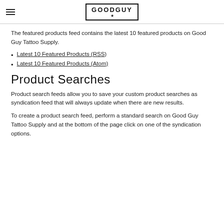GOODGUY
The featured products feed contains the latest 10 featured products on Good Guy Tattoo Supply.
Latest 10 Featured Products (RSS)
Latest 10 Featured Products (Atom)
Product Searches
Product search feeds allow you to save your custom product searches as syndication feed that will always update when there are new results.
To create a product search feed, perform a standard search on Good Guy Tattoo Supply and at the bottom of the page click on one of the syndication options.